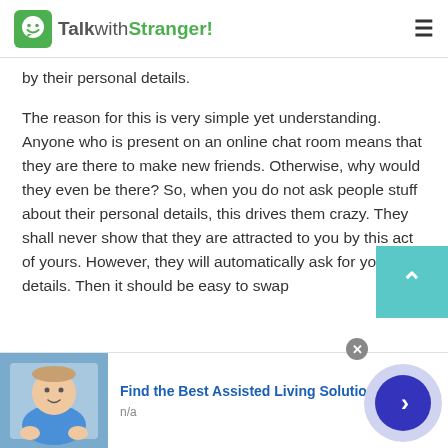TalkwithStranger!
by their personal details.
The reason for this is very simple yet understanding. Anyone who is present on an online chat room means that they are there to make new friends. Otherwise, why would they even be there? So, when you do not ask people stuff about their personal details, this drives them crazy. They shall never show that they are attracted to you by this act of yours. However, they will automatically ask for your details. Then it should be easy to swap contacts with them.
[Figure (screenshot): Advertisement banner: Find the Best Assisted Living Solutions, with image of elderly person and navigation arrow button]
Find the Best Assisted Living Solutions
n/a